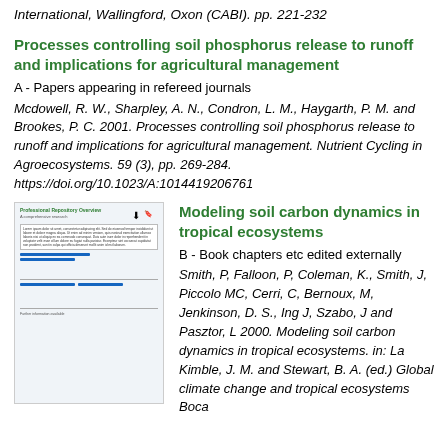International, Wallingford, Oxon (CABI). pp. 221-232
Processes controlling soil phosphorus release to runoff and implications for agricultural management
A - Papers appearing in refereed journals
Mcdowell, R. W., Sharpley, A. N., Condron, L. M., Haygarth, P. M. and Brookes, P. C. 2001. Processes controlling soil phosphorus release to runoff and implications for agricultural management. Nutrient Cycling in Agroecosystems. 59 (3), pp. 269-284. https://doi.org/10.1023/A:1014419206761
[Figure (screenshot): Thumbnail preview of a research paper page showing formatted document content with green heading, text body, and blue underlined links]
Modeling soil carbon dynamics in tropical ecosystems
B - Book chapters etc edited externally
Smith, P, Falloon, P, Coleman, K., Smith, J, Piccolo MC, Cerri, C, Bernoux, M, Jenkinson, D. S., Ing J, Szabo, J and Pasztor, L 2000. Modeling soil carbon dynamics in tropical ecosystems. in: La Kimble, J. M. and Stewart, B. A. (ed.) Global climate change and tropical ecosystems Boca